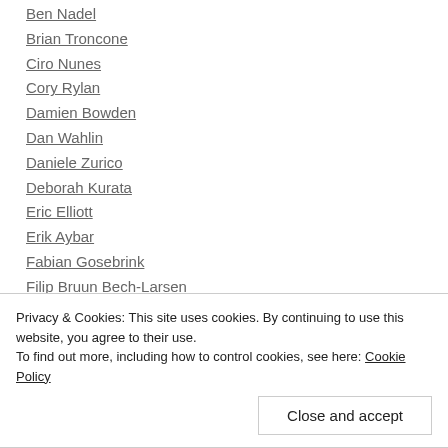Ben Nadel
Brian Troncone
Ciro Nunes
Cory Rylan
Damien Bowden
Dan Wahlin
Daniele Zurico
Deborah Kurata
Eric Elliott
Erik Aybar
Fabian Gosebrink
Filip Bruun Bech-Larsen
Gerard Sans
Privacy & Cookies: This site uses cookies. By continuing to use this website, you agree to their use. To find out more, including how to control cookies, see here: Cookie Policy
Close and accept